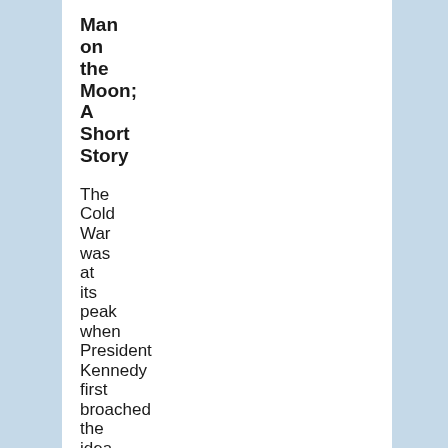Man on the Moon; A Short Story
The Cold War was at its peak when President Kennedy first broached the idea of